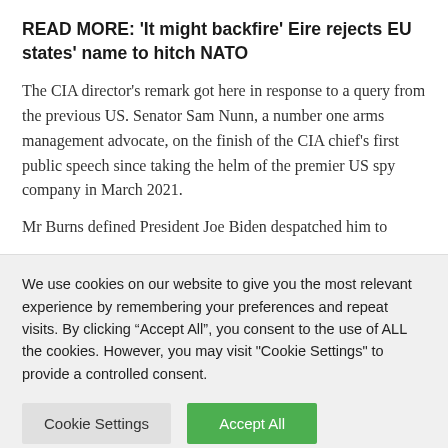READ MORE: 'It might backfire' Eire rejects EU states' name to hitch NATO
The CIA director's remark got here in response to a query from the previous US. Senator Sam Nunn, a number one arms management advocate, on the finish of the CIA chief's first public speech since taking the helm of the premier US spy company in March 2021.
Mr Burns defined President Joe Biden despatched him to
We use cookies on our website to give you the most relevant experience by remembering your preferences and repeat visits. By clicking "Accept All", you consent to the use of ALL the cookies. However, you may visit "Cookie Settings" to provide a controlled consent.